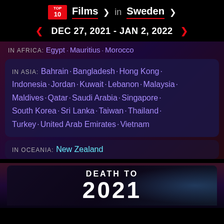TOP 10 Films in Sweden
DEC 27, 2021 - JAN 2, 2022
IN AFRICA: Egypt · Mauritius · Morocco
IN ASIA: Bahrain · Bangladesh · Hong Kong · Indonesia · Jordan · Kuwait · Lebanon · Malaysia · Maldives · Qatar · Saudi Arabia · Singapore · South Korea · Sri Lanka · Taiwan · Thailand · Turkey · United Arab Emirates · Vietnam
IN OCEANIA: New Zealand
DEATH TO 2021